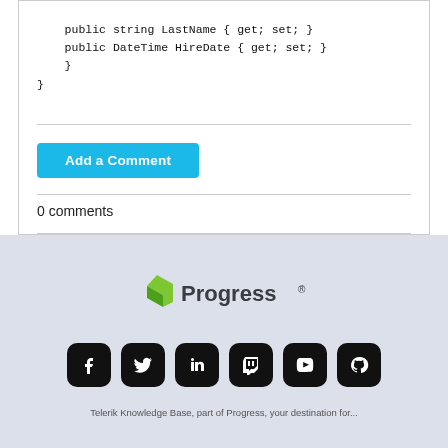public string LastName { get; set; }
    public DateTime HireDate { get; set; }
    }
}
Add a Comment
0 comments
[Figure (logo): Progress logo with green angular bracket icon and 'Progress' text in dark gray]
[Figure (infographic): Row of 6 social media icons: Facebook, Twitter, LinkedIn, Twitch, YouTube, GitHub — all black rounded squares]
Telerik Knowledge Base, part of Progress, your destination for...